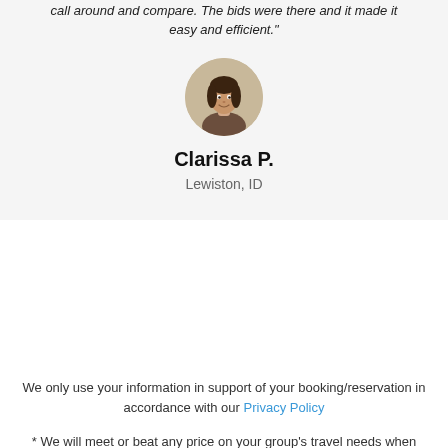call around and compare. The bids were there and it made it easy and efficient."
[Figure (photo): Circular portrait photo of a woman (Clarissa P.) smiling, wearing a brown jacket, with a blurred background.]
Clarissa P.
Lewiston, ID
We only use your information in support of your booking/reservation in accordance with our Privacy Policy
* We will meet or beat any price on your group's travel needs when